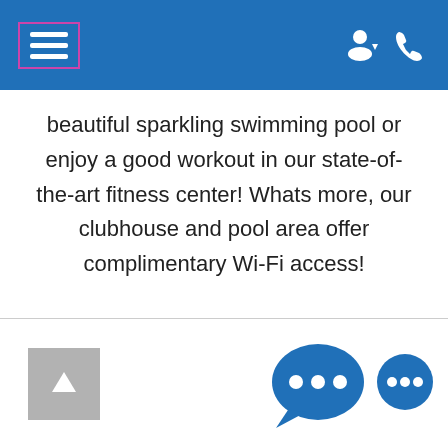[Figure (screenshot): Mobile app navigation bar with hamburger menu icon (outlined in pink/magenta), user account icon with dropdown arrow, and phone icon on blue background]
beautiful sparkling swimming pool or enjoy a good workout in our state-of-the-art fitness center! Whats more, our clubhouse and pool area offer complimentary Wi-Fi access!
[Figure (other): Scroll-to-top button (gray square with upward arrow) and chat widget (two blue speech bubble icons with ellipsis dots)]